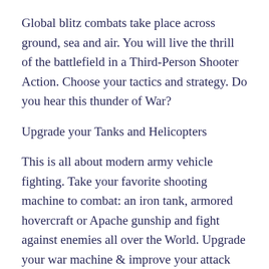Global blitz combats take place across ground, sea and air. You will live the thrill of the battlefield in a Third-Person Shooter Action. Choose your tactics and strategy. Do you hear this thunder of War?
Upgrade your Tanks and Helicopters
This is all about modern army vehicle fighting. Take your favorite shooting machine to combat: an iron tank, armored hovercraft or Apache gunship and fight against enemies all over the World. Upgrade your war machine & improve your attack skills. Cause a blitz air combat with your Sea Hawk helicopter. Forge your battle tank with heavy iron armor to protect your driver. Optimize your hovercraft (water tank) and destroy enemies in online battles.